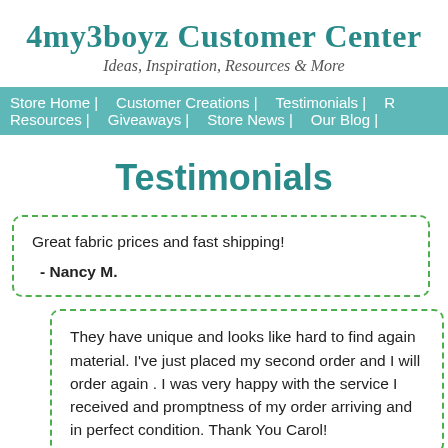4my3boyz Customer Center
Ideas, Inspiration, Resources & More
Store Home | Customer Creations | Testimonials | R... Resources | Giveaways | Store News | Our Blog |
Testimonials
Great fabric prices and fast shipping!

- Nancy M.
They have unique and looks like hard to find again material. I've just placed my second order and I will order again . I was very happy with the service I received and promptness of my order arriving and in perfect condition. Thank You Carol!